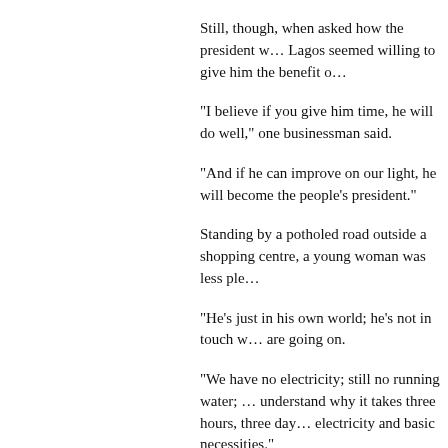Still, though, when asked how the president was doing, many people in Lagos seemed willing to give him the benefit of the doubt.
"I believe if you give him time, he will do well," one businessman said.
"And if he can improve on our light, he will become the people's president."
Standing by a potholed road outside a shopping centre, a young woman was less pleased.
"He's just in his own world; he's not in touch with the things that are going on.
"We have no electricity; still no running water; I just don't understand why it takes three hours, three days to get electricity and basic necessities."
The president's honeymoon period has lasted longer than expected.
After decades of autocratic politics, dominated by personal enrichment, it seems the idea of a servant president still resonates.
But ultimately the real test of this presidency is whether it is capable of delivering the promises of real change.